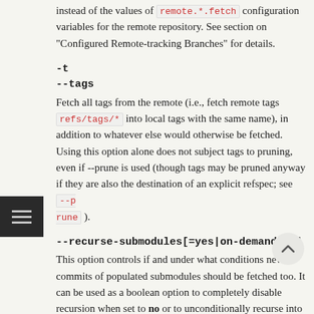instead of the values of remote.*.fetch configuration variables for the remote repository. See section on "Configured Remote-tracking Branches" for details.
-t
--tags
Fetch all tags from the remote (i.e., fetch remote tags refs/tags/* into local tags with the same name), in addition to whatever else would otherwise be fetched. Using this option alone does not subject tags to pruning, even if --prune is used (though tags may be pruned anyway if they are also the destination of an explicit refspec; see --prune ).
--recurse-submodules[=yes|on-demand|no]
This option controls if and under what conditions new commits of populated submodules should be fetched too. It can be used as a boolean option to completely disable recursion when set to no or to unconditionally recurse into all populated